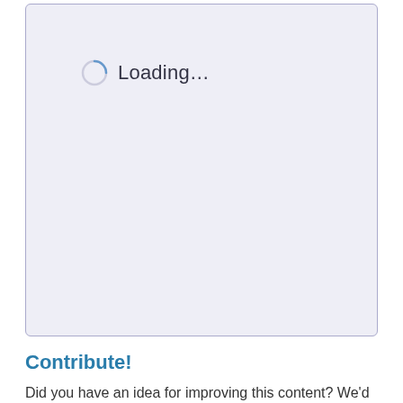[Figure (screenshot): A loading state box with lavender/light purple background showing a spinning circle icon and the text 'Loading...' in the upper left area of the box.]
Contribute!
Did you have an idea for improving this content? We'd